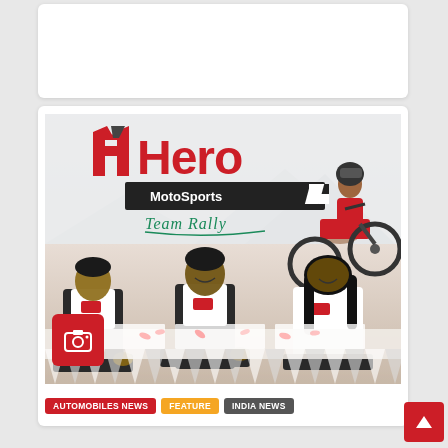[Figure (photo): Partially visible white card at top of page]
[Figure (photo): Hero MotoSports Team Rally signing event photo. Three people seated at a table signing documents in front of a Hero MotoSports Team Rally banner. A motocross rider on a red dirt bike is visible in the background on the right side.]
AUTOMOBILES NEWS
FEATURE
INDIA NEWS